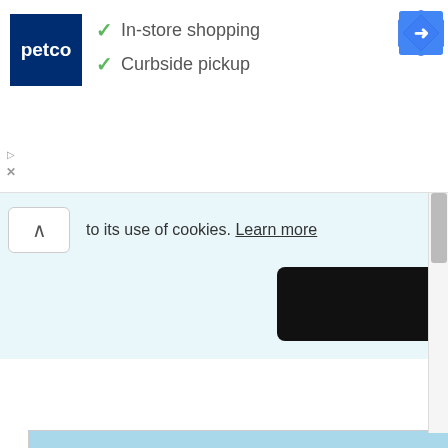[Figure (screenshot): Petco advertisement banner showing logo and checkmarks for In-store shopping and Curbside pickup, with Google Maps navigation icon]
to its use of cookies. Learn more
Got it!
[Figure (photo): Harbor scene with blue water, sailboats and ferries docked at a pier, clear blue sky, coastal building in background]